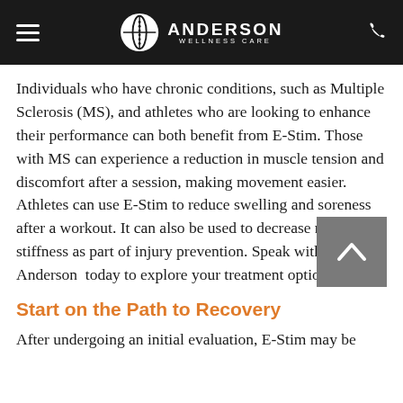ANDERSON WELLNESS CARE
Individuals who have chronic conditions, such as Multiple Sclerosis (MS), and athletes who are looking to enhance their performance can both benefit from E-Stim. Those with MS can experience a reduction in muscle tension and discomfort after a session, making movement easier. Athletes can use E-Stim to reduce swelling and soreness after a workout. It can also be used to decrease muscle stiffness as part of injury prevention. Speak with Dr. Anderson  today to explore your treatment options.
Start on the Path to Recovery
After undergoing an initial evaluation, E-Stim may be